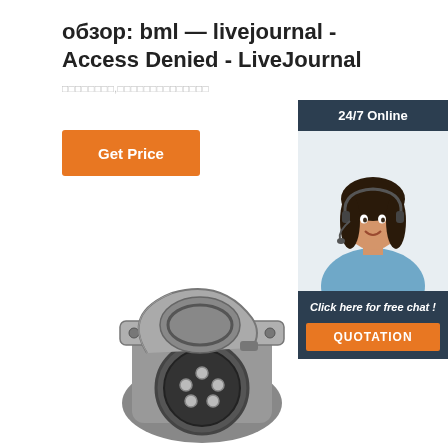обзор: bml — livejournal - Access Denied - LiveJournal
□□□□□□□□,□□□□□□□□□□□□□□
Get Price
[Figure (photo): Advertisement banner with 24/7 Online text, woman with headset (customer support), Click here for free chat!, QUOTATION button]
[Figure (photo): Industrial electrical connector - circular metal connector with multiple pins, shown open]